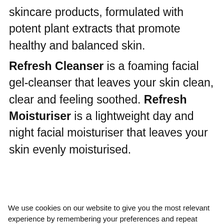skincare products, formulated with potent plant extracts that promote healthy and balanced skin.
Refresh Cleanser is a foaming facial gel-cleanser that leaves your skin clean, clear and feeling soothed. Refresh Moisturiser is a lightweight day and night facial moisturiser that leaves your skin evenly moisturised.
[Figure (logo): A row of green mountain/hill logos partially visible at the bottom of the page content area]
We use cookies on our website to give you the most relevant experience by remembering your preferences and repeat visits. By clicking "Accept All", you consent to the use of ALL the cookies. However, you may visit "Cookie Settings" to provide a controlled consent.